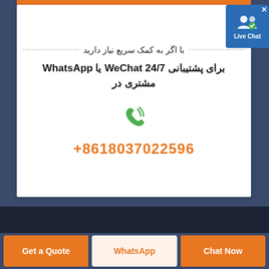با اگر به کمک سریع نیاز دارید
برای پشتیبانی WeChat 24/7 یا WhatsApp مشتری در
+8618037022596
[Figure (illustration): Live Chat badge with user/chat icon]
Get a Quote
WhatsApp
Chat Now